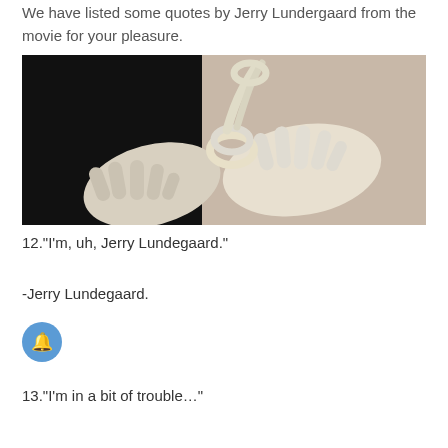We have listed some quotes by Jerry Lundergaard from the movie for your pleasure.
[Figure (photo): Two pale/white hands bound together at the wrists with a white rope, against a dark background.]
12."I'm, uh, Jerry Lundegaard."
-Jerry Lundegaard.
13."I'm in a bit of trouble…"